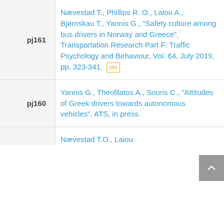pj161 — Nævestad T., Phillips R. O., Laiou A., Bjørnskau T., Yannis G., "Safety culture among bus drivers in Norway and Greece", Transportation Research Part F: Traffic Psychology and Behaviour, Vol. 64, July 2019, pp. 323-341. [doi]
pj160 — Yannis G., Theofilatos A., Souris C., "Attitudes of Greek drivers towards autonomous vehicles", ATS, in press.
pj159 — Nævestad T.O., Laiou ...